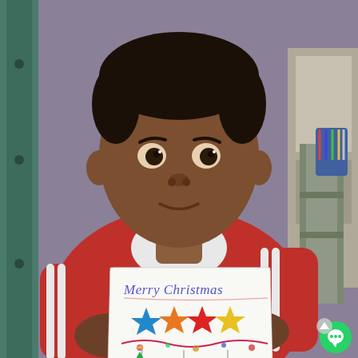[Figure (photo): A young boy wearing a red and white striped jacket holds up a hand-drawn Christmas card. The card reads 'Merry Christmas' in blue cursive writing, with four colorful stars (blue, orange, red, yellow) below the text, and drawings of Christmas ornaments, a Christmas tree, and decorative garland below that. The background shows a purple wall and some furniture.]